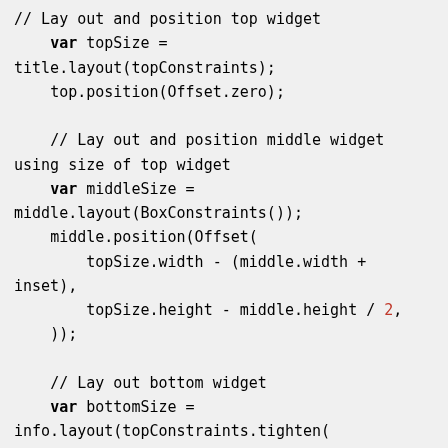// Lay out and position top widget
    var topSize = title.layout(topConstraints);
    top.position(Offset.zero);

    // Lay out and position middle widget
    // using size of top widget
    var middleSize = middle.layout(BoxConstraints());
    middle.position(Offset(
        topSize.width - (middle.width +
inset),
        topSize.height - middle.height / 2,
    ));

    // Lay out bottom widget
    var bottomSize = info.layout(topConstraints.tighten(
        // Bottom widget should be same width as top widget
        width: topSize.width